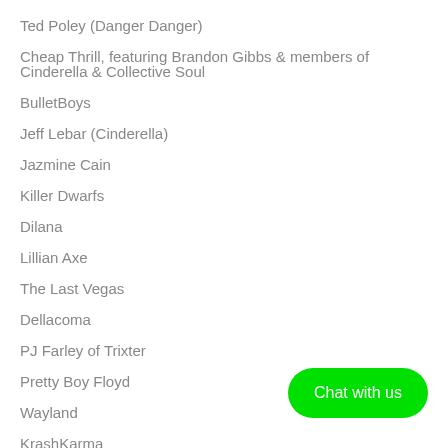Ted Poley (Danger Danger)
Cheap Thrill, featuring Brandon Gibbs & members of Cinderella & Collective Soul
BulletBoys
Jeff Lebar (Cinderella)
Jazmine Cain
Killer Dwarfs
Dilana
Lillian Axe
The Last Vegas
Dellacoma
PJ Farley of Trixter
Pretty Boy Floyd
Wayland
KrashKarma
Chat with us